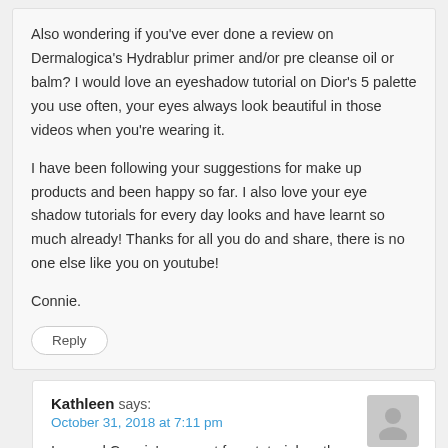Also wondering if you've ever done a review on Dermalogica's Hydrablur primer and/or pre cleanse oil or balm? I would love an eyeshadow tutorial on Dior's 5 palette you use often, your eyes always look beautiful in those videos when you're wearing it.

I have been following your suggestions for make up products and been happy so far. I also love your eye shadow tutorials for every day looks and have learnt so much already! Thanks for all you do and share, there is no one else like you on youtube!

Connie.
Reply
Kathleen says:
October 31, 2018 at 7:11 pm
I second Connie's request for a tutorial on the Dior 5 color palette! It looks so good on you… I was